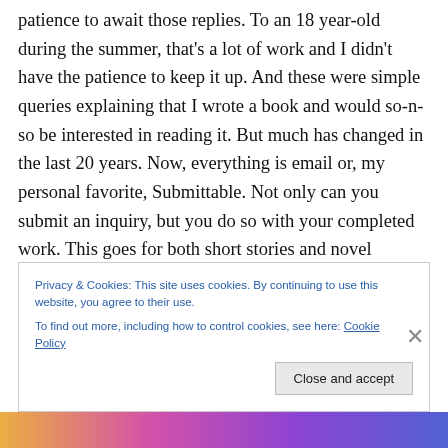patience to await those replies. To an 18 year-old during the summer, that's a lot of work and I didn't have the patience to keep it up. And these were simple queries explaining that I wrote a book and would so-n-so be interested in reading it. But much has changed in the last 20 years. Now, everything is email or, my personal favorite, Submittable. Not only can you submit an inquiry, but you do so with your completed work. This goes for both short stories and novel manuscripts. I can whip up several query letters in an hour. That made my goal more productive and much easier. Two years ago I decided that
Privacy & Cookies: This site uses cookies. By continuing to use this website, you agree to their use.
To find out more, including how to control cookies, see here: Cookie Policy